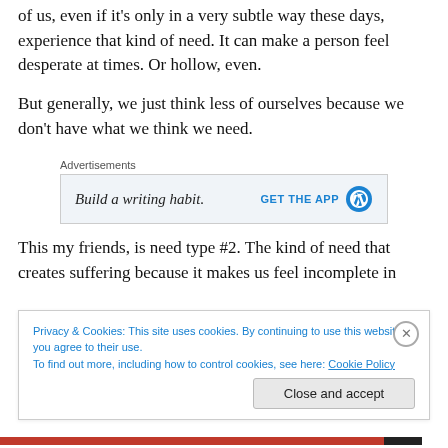of us, even if it's only in a very subtle way these days, experience that kind of need. It can make a person feel desperate at times. Or hollow, even.
But generally, we just think less of ourselves because we don't have what we think we need.
[Figure (screenshot): Advertisement banner: 'Build a writing habit.' with a 'GET THE APP' call to action and WordPress logo]
This my friends, is need type #2. The kind of need that creates suffering because it makes us feel incomplete in
Privacy & Cookies: This site uses cookies. By continuing to use this website, you agree to their use.
To find out more, including how to control cookies, see here: Cookie Policy